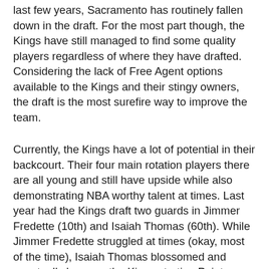last few years, Sacramento has routinely fallen down in the draft. For the most part though, the Kings have still managed to find some quality players regardless of where they have drafted. Considering the lack of Free Agent options available to the Kings and their stingy owners, the draft is the most surefire way to improve the team.
Currently, the Kings have a lot of potential in their backcourt. Their four main rotation players there are all young and still have upside while also demonstrating NBA worthy talent at times. Last year had the Kings draft two guards in Jimmer Fredette (10th) and Isaiah Thomas (60th). While Jimmer Fredette struggled at times (okay, most of the time), Isaiah Thomas blossomed and eventually became the Kings starting Point Guard. Because of Thomas' emergence and the